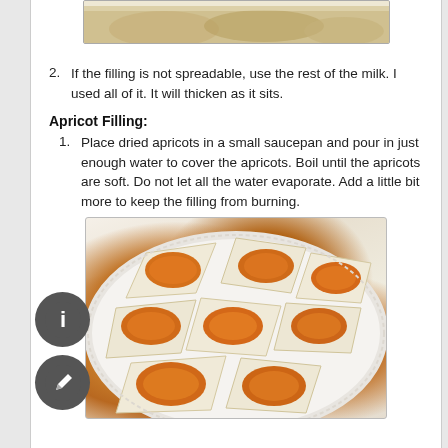[Figure (photo): Photo of pastries dusted with powdered sugar on a white surface, partially cropped at top]
If the filling is not spreadable, use the rest of the milk. I used all of it. It will thicken as it sits.
Apricot Filling:
Place dried apricots in a small saucepan and pour in just enough water to cover the apricots. Boil until the apricots are soft. Do not let all the water evaporate. Add a little bit more to keep the filling from burning.
[Figure (photo): Photo of apricot-filled pastries arranged on a white decorative plate, showing the orange apricot jam filling visible in the center of folded pastry triangles]